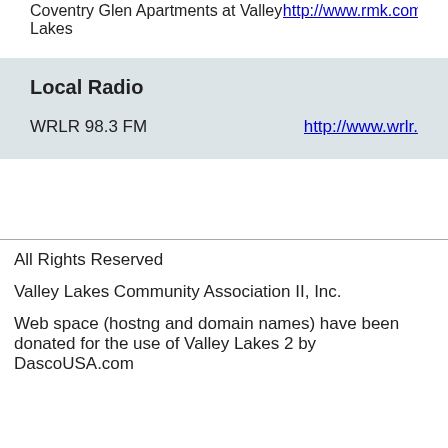Coventry Glen Apartments at Valley Lakes
http://www.rmk.com/Pr
Local Radio
WRLR 98.3 FM
http://www.wrlr.
All Rights Reserved
Valley Lakes Community Association II, Inc.
Web space (hostng and domain names) have been donated for the use of Valley Lakes 2 by DascoUSA.com